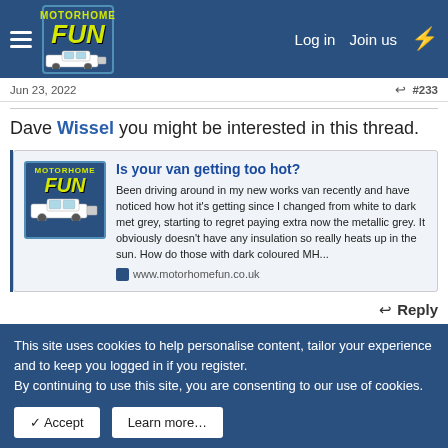Motorhome Fun — Log in | Join us
Jun 23, 2022   #233
Dave Wissel you might be interested in this thread.
[Figure (screenshot): Motorhome Fun website link card showing article 'Is your van getting too hot?' with logo image and text excerpt about van heating up after colour change from white to dark met grey, with link to www.motorhomefun.co.uk]
↩ Reply
This site uses cookies to help personalise content, tailor your experience and to keep you logged in if you register.
By continuing to use this site, you are consenting to our use of cookies.
✓ Accept   Learn more…